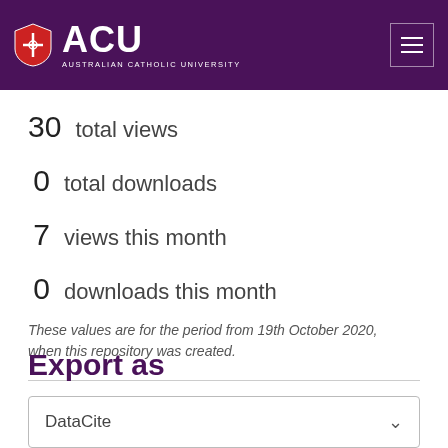ACU Australian Catholic University
30  total views
0  total downloads
7  views this month
0  downloads this month
These values are for the period from 19th October 2020, when this repository was created.
Export as
DataCite